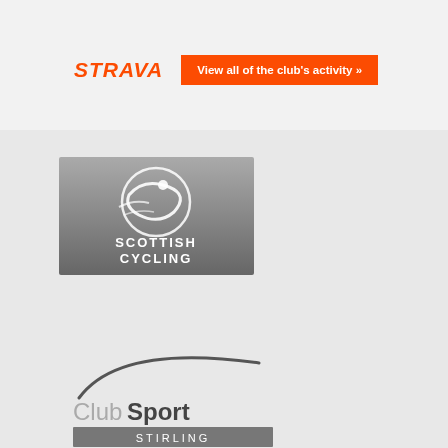[Figure (logo): STRAVA logo in orange italic bold text with 'View all of the club's activity »' orange button]
[Figure (logo): Scottish Cycling logo - grey rectangular background with cycling figure icon and 'SCOTTISH CYCLING' text in white]
[Figure (logo): ClubSport Stirling logo - grey curved arc above 'ClubSport' text with 'STIRLING' below in grey bar]
[Figure (logo): Red square logo with white circular arrow/cycling symbol]